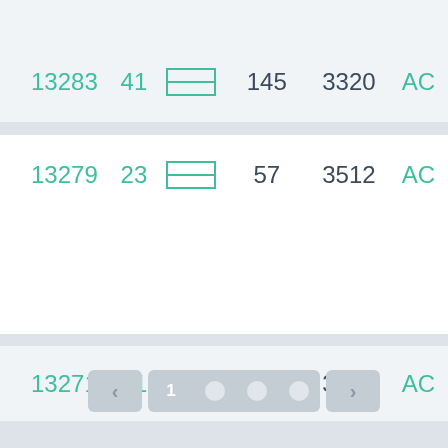| 13283 | 41 | □□ | 145 | 3320 | AC |
| 13279 | 23 | □□ | 57 | 3512 | AC |
| 13271 | 31 | □□ | 55 | 3388 | AC |
[Figure (other): Pagination control with left arrow, page 1 (active), three dot indicators, and right arrow]